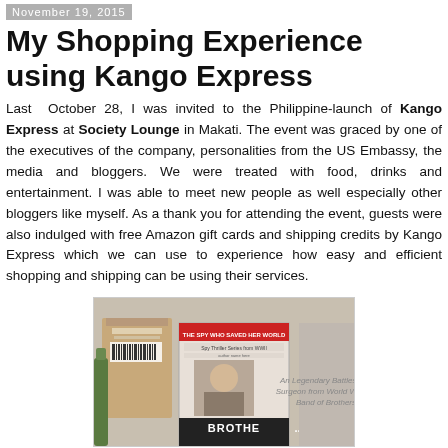November 19, 2015
My Shopping Experience using Kango Express
Last October 28, I was invited to the Philippine-launch of Kango Express at Society Lounge in Makati. The event was graced by one of the executives of the company, personalities from the US Embassy, the media and bloggers. We were treated with food, drinks and entertainment. I was able to meet new people as well especially other bloggers like myself. As a thank you for attending the event, guests were also indulged with free Amazon gift cards and shipping credits by Kango Express which we can use to experience how easy and efficient shopping and shipping can be using their services.
[Figure (photo): A photo showing a package/box and a book titled 'Brothers' related to Kango Express shopping experience]